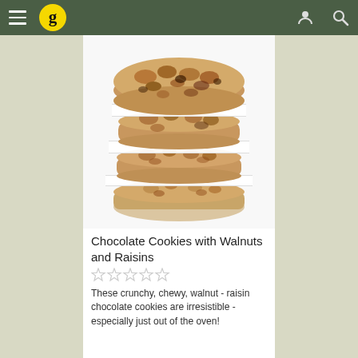[Figure (logo): Golubka Kitchen 'g' logo — yellow circle with black letter g]
[Figure (photo): Stack of four chocolate oatmeal walnut raisin cookies separated by parchment paper squares, photographed on a white background]
Chocolate Cookies with Walnuts and Raisins
[Figure (other): Five empty star rating icons (gray outlines)]
These crunchy, chewy, walnut - raisin chocolate cookies are irresistible - especially just out of the oven!